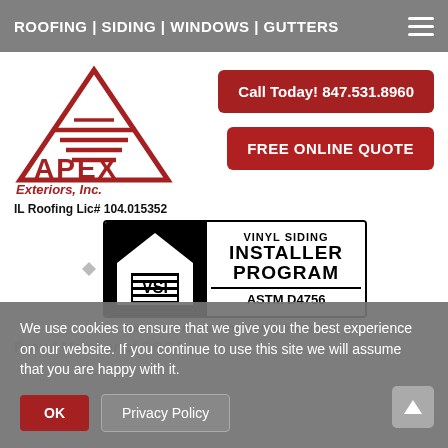ROOFING | SIDING | WINDOWS | GUTTERS
[Figure (logo): Apex Exteriors, Inc. logo — red triangle with horizontal lines, red APEX text, Exteriors Inc. below]
IL Roofing Lic# 104.015352
Call Today! 847.531.8960
FREE ONLINE QUOTE
[Figure (logo): VSI Vinyl Siding Installer Program badge with ASTM D4756 — black left panel with house and VSI logo, white right panel with bold text VINYL SIDING INSTALLER PROGRAM ASTM D4756]
Sponsored by the Vinyl Siding Institute
Proud Member of CRCA
We use cookies to ensure that we give you the best experience on our website. If you continue to use this site we will assume that you are happy with it.
OK
Privacy Policy